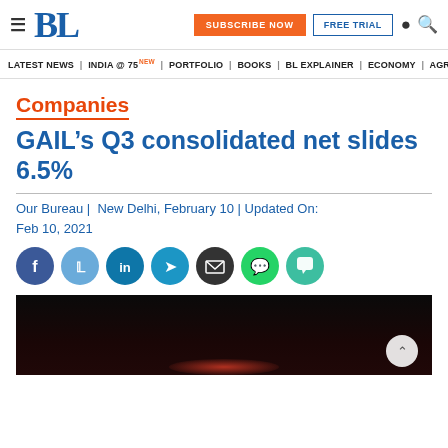BL | SUBSCRIBE NOW | FREE TRIAL
LATEST NEWS | INDIA @ 75 NEW | PORTFOLIO | BOOKS | BL EXPLAINER | ECONOMY | AGR
Companies
GAIL’s Q3 consolidated net slides 6.5%
Our Bureau |  New Delhi, February 10 | Updated On: Feb 10, 2021
[Figure (other): Social media sharing icons row: Facebook, Twitter, LinkedIn, Telegram, Email, WhatsApp, Comment]
[Figure (photo): Dark photo partially shown, appears to be related to GAIL with a red accent at bottom center]